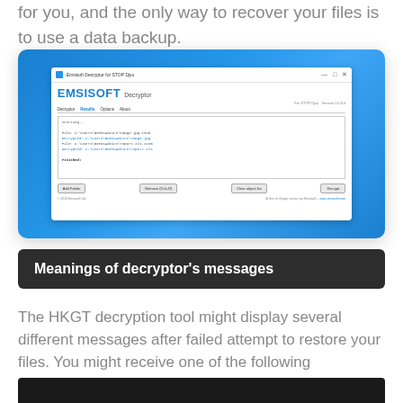for you, and the only way to recover your files is to use a data backup.
[Figure (screenshot): Emsisoft Decryptor for STOP Djvu application window showing decryption results with file paths and a Finished message]
Meanings of decryptor’s messages
The HKGT decryption tool might display several different messages after failed attempt to restore your files. You might receive one of the following messages:
[Figure (screenshot): Dark/black screenshot panel at the bottom of the page, content cut off]